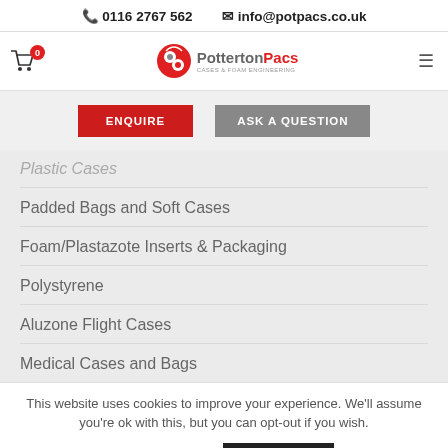📞 0116 2767 562   ✉ info@potpacs.co.uk
[Figure (logo): Potterton Pacs logo with cart icon and hamburger menu in navigation bar]
ENQUIRE
ASK A QUESTION
Plastic Cases (partial)
Padded Bags and Soft Cases
Foam/Plastazote Inserts & Packaging
Polystyrene
Aluzone Flight Cases
Medical Cases and Bags
This website uses cookies to improve your experience. We'll assume you're ok with this, but you can opt-out if you wish.
Cookie Settings
ACCEPT